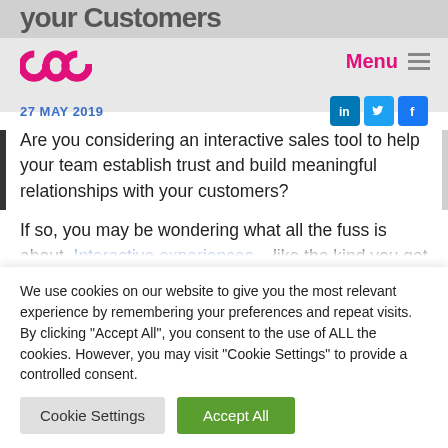your Customers
[Figure (logo): POP logo in pink/magenta]
Menu
27 MAY 2019
Are you considering an interactive sales tool to help your team establish trust and build meaningful relationships with your customers?
If so, you may be wondering what all the fuss is about. Interactive experiences – like the kind you get on a touchscreen – may seem like a fancy...
We use cookies on our website to give you the most relevant experience by remembering your preferences and repeat visits. By clicking "Accept All", you consent to the use of ALL the cookies. However, you may visit "Cookie Settings" to provide a controlled consent.